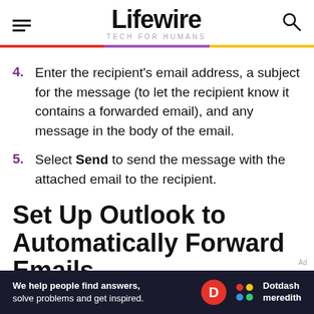Lifewire TECH FOR HUMANS
Enter the recipient's email address, a subject for the message (to let the recipient know it contains a forwarded email), and any message in the body of the email.
Select Send to send the message with the attached email to the recipient.
Set Up Outlook to Automatically Forward Emails
[Figure (infographic): Dotdash Meredith advertisement banner: 'We help people find answers, solve problems and get inspired.' with D and colorful dot logos.]